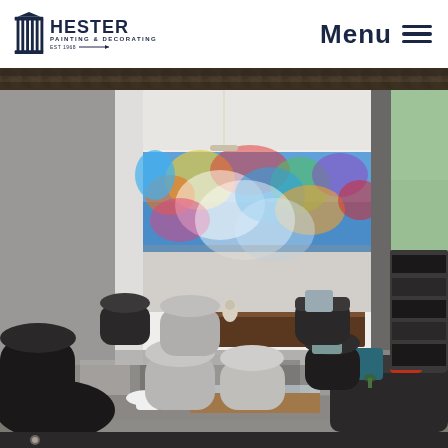[Figure (logo): Hester Painting & Decorating logo with columned icon]
Menu ≡
[Figure (photo): Narrow strip showing tree canopy or natural foliage, dark tones]
[Figure (photo): Modern hotel or office lobby interior with colorful abstract mural on back wall, contemporary dark and light chairs, geometric patterned rug, glass coffee table, and open glass walls showing exterior greenery]